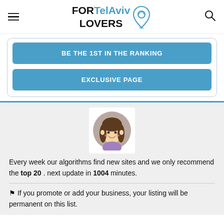FORTelAviv LOVERS
BE THE 1ST IN THE RANKING
EXCLUSIVE PAGE
[Figure (illustration): Cartoon avatar of a girl with brown hair, wearing a purple top, inside a circular frame with a gray background, on a white square card]
Every week our algorithms find new sites and we only recommend the top 20 . next update in 1004 minutes.
⚑ If you promote or add your business, your listing will be permanent on this list.